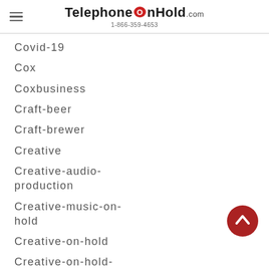TelephoneOnHold.com 1-866-359-4653
Covid-19
Cox
Coxbusiness
Craft-beer
Craft-brewer
Creative
Creative-audio-production
Creative-music-on-hold
Creative-on-hold
Creative-on-hold-